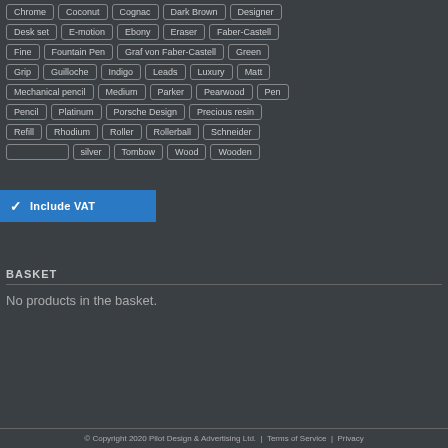Chrome | Coconut | Cognac | Dark Brown | Designer | Desk set | E-motion | Ebony | Eraser | Faber-Castell | Fine | Fountain Pen | Graf von Faber-Castell | Green | Grip | Guilloche | Indigo | Leads | Luxury | Matt | Mechanical pencil | Medium | Parker | Pearwood | Pen | Pencil | Platinum | Porsche Design | Precious resin | Refill | Rhodium | Roller | Rollerball | Schneider | Silver | Tombow | Wood | Wooden
Include VAT
BASKET
No products in the basket.
© Copyright 2020 Pilot Design & Advertising Ltd. | Terms of Service | Privacy